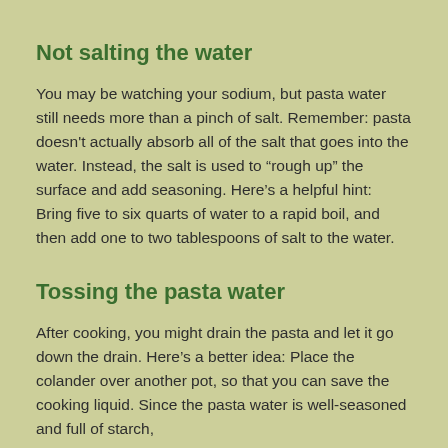Not salting the water
You may be watching your sodium, but pasta water still needs more than a pinch of salt. Remember: pasta doesn't actually absorb all of the salt that goes into the water. Instead, the salt is used to “rough up” the surface and add seasoning. Here’s a helpful hint: Bring five to six quarts of water to a rapid boil, and then add one to two tablespoons of salt to the water.
Tossing the pasta water
After cooking, you might drain the pasta and let it go down the drain. Here’s a better idea: Place the colander over another pot, so that you can save the cooking liquid. Since the pasta water is well-seasoned and full of starch,